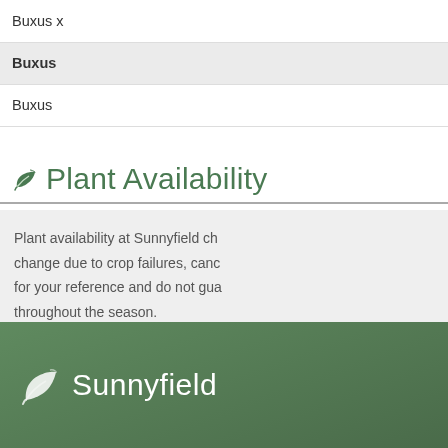| Genus | Variety |
| --- | --- |
| Buxus x | Green V... |
| Buxus | Glenco... |
| Buxus | Green M... |
Plant Availability
Plant availability at Sunnyfield ch... change due to crop failures, canc... for your reference and do not gua... throughout the season.
Sunnyfield